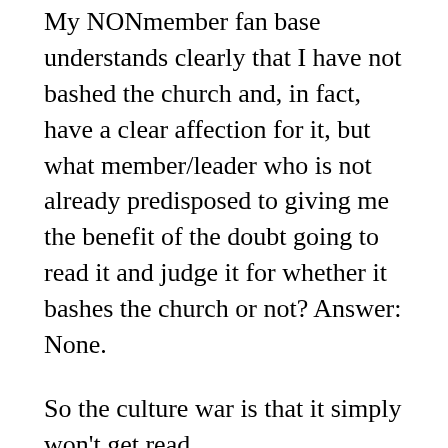My NONmember fan base understands clearly that I have not bashed the church and, in fact, have a clear affection for it, but what member/leader who is not already predisposed to giving me the benefit of the doubt going to read it and judge it for whether it bashes the church or not? Answer: None.
So the culture war is that it simply won't get read.
*The corollary here is an odd one, but I'll make it anyway. In genre romance, an unlikeable heroine is a tough, if not impossible, sell, not necessarily to editors, but to readers. There are legions of romance readers, and a good many of them will howl if one breaks the pattern of